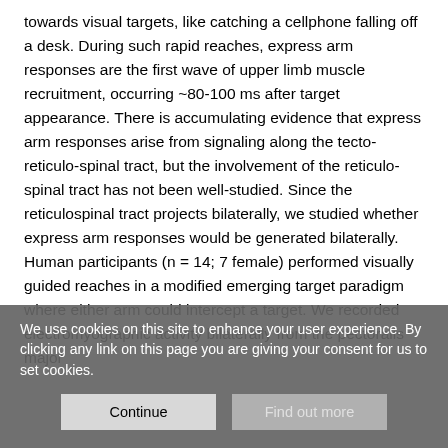towards visual targets, like catching a cellphone falling off a desk. During such rapid reaches, express arm responses are the first wave of upper limb muscle recruitment, occurring ~80-100 ms after target appearance. There is accumulating evidence that express arm responses arise from signaling along the tecto-reticulo-spinal tract, but the involvement of the reticulo-spinal tract has not been well-studied. Since the reticulospinal tract projects bilaterally, we studied whether express arm responses would be generated bilaterally. Human participants (n = 14; 7 female) performed visually guided reaches in a modified emerging target paradigm where either arm could intercept a target. We recorded electromyographic activity bilaterally from the pectoralis major
We use cookies on this site to enhance your user experience. By clicking any link on this page you are giving your consent for us to set cookies.